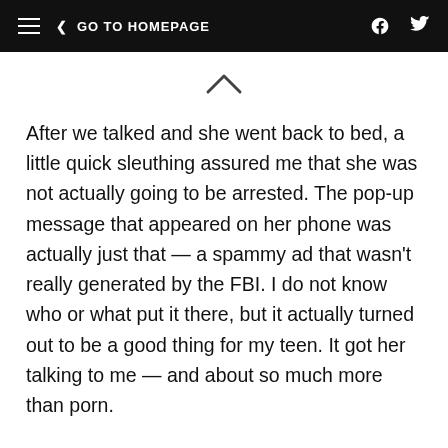≡  < GO TO HOMEPAGE
[Figure (other): Caret/chevron up symbol indicating scroll up]
After we talked and she went back to bed, a little quick sleuthing assured me that she was not actually going to be arrested. The pop-up message that appeared on her phone was actually just that — a spammy ad that wasn't really generated by the FBI. I do not know who or what put it there, but it actually turned out to be a good thing for my teen. It got her talking to me — and about so much more than porn.
Even after banishing her fear of the FBI swarming our home, her nerves were not